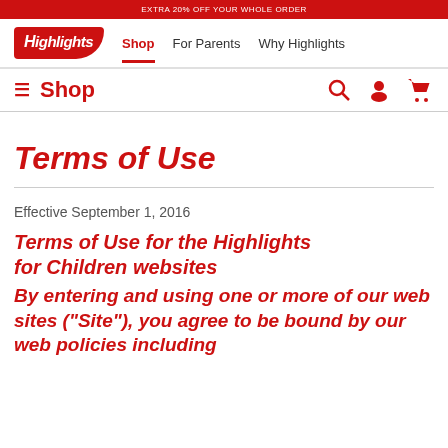EXTRA 20% OFF YOUR WHOLE ORDER
[Figure (logo): Highlights for Children logo — red badge with white italic text reading 'Highlights']
Shop   For Parents   Why Highlights
☰ Shop 🔍 👤 🛒
Terms of Use
Effective September 1, 2016
Terms of Use for the Highlights for Children websites
By entering and using one or more of our web sites ("Site"), you agree to be bound by our web policies including